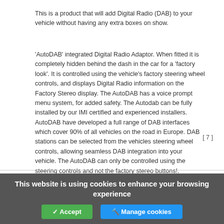This is a product that will add Digital Radio (DAB) to your vehicle without having any extra boxes on show.
'AutoDAB' integrated Digital Radio Adaptor. When fitted it is completely hidden behind the dash in the car for a 'factory look'. It is controlled using the vehicle's factory steering wheel controls, and displays Digital Radio information on the Factory Stereo display. The AutoDAB has a voice prompt menu system, for added safety. The Autodab can be fully installed by our IMI certified and experienced installers. AutoDAB have developed a full range of DAB interfaces which cover 90% of all vehicles on the road in Europe. DAB stations can be selected from the vehicles steering wheel controls, allowing seamless DAB integration into your vehicle. The AutoDAB can only be controlled using the steering controls and not the factory stereo buttons!.
[ 7 ]
This website is using cookies to enhance your browsing experience
✓ Accept   🔧 Manage cookies